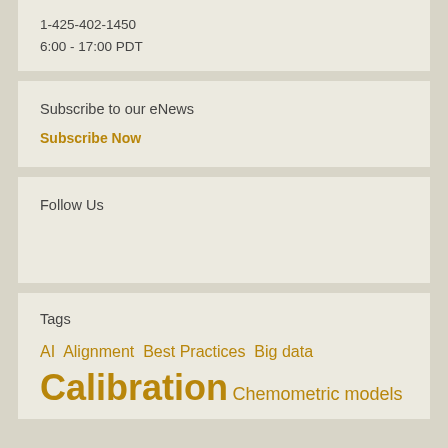1-425-402-1450
6:00 - 17:00 PDT
Subscribe to our eNews
Subscribe Now
Follow Us
Tags
AI Alignment Best Practices Big data Calibration Chemometric models